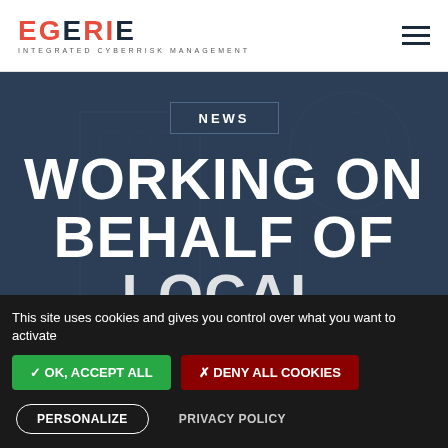EGERIE INTEGRATED CYBERRISK MANAGEMENT
NEWS
WORKING ON BEHALF OF LOCAL
This site uses cookies and gives you control over what you want to activate
✓ OK, ACCEPT ALL
✗ DENY ALL COOKIES
PERSONALIZE
PRIVACY POLICY